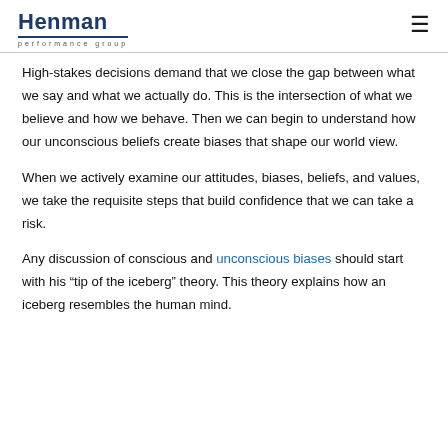Henman performance group
High-stakes decisions demand that we close the gap between what we say and what we actually do. This is the intersection of what we believe and how we behave. Then we can begin to understand how our unconscious beliefs create biases that shape our world view.
When we actively examine our attitudes, biases, beliefs, and values, we take the requisite steps that build confidence that we can take a risk.
Any discussion of conscious and unconscious biases should start with his “tip of the iceberg” theory. This theory explains how an iceberg resembles the human mind.